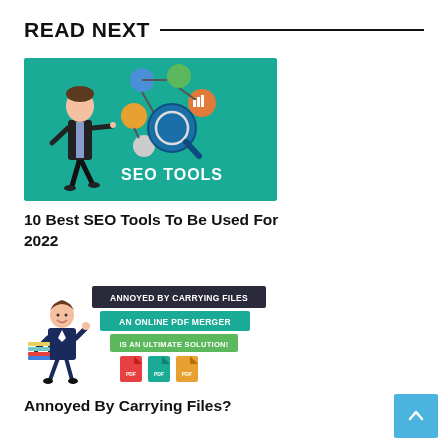READ NEXT
[Figure (illustration): SEO Tools banner with teal background showing a businessman pointing at colorful circular icons and a magnifying glass with text 'SEO TOOLS']
10 Best SEO Tools To Be Used For 2022
[Figure (illustration): Infographic showing a cartoon businessman holding stacked files with text 'ANNOYED BY CARRYING FILES', 'AN ONLINE PDF MERGER', 'IS AN ULTIMATE SOLUTION!' and PDF file icons]
Annoyed By Carrying Files?